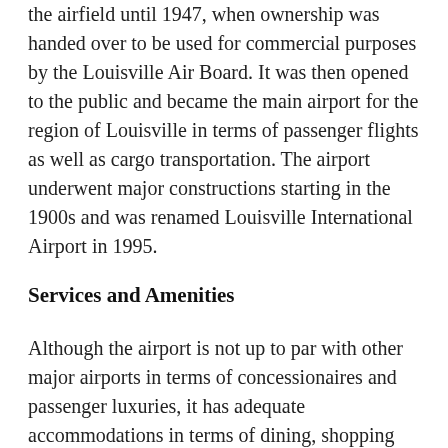the airfield until 1947, when ownership was handed over to be used for commercial purposes by the Louisville Air Board. It was then opened to the public and became the main airport for the region of Louisville in terms of passenger flights as well as cargo transportation. The airport underwent major constructions starting in the 1900s and was renamed Louisville International Airport in 1995.
Services and Amenities
Although the airport is not up to par with other major airports in terms of concessionaires and passenger luxuries, it has adequate accommodations in terms of dining, shopping and passenger services. The different terminals all have food and drink kiosks, vending machines as well as fast food restaurants and bars. They also have retail stores selling amenities, souvenirs...